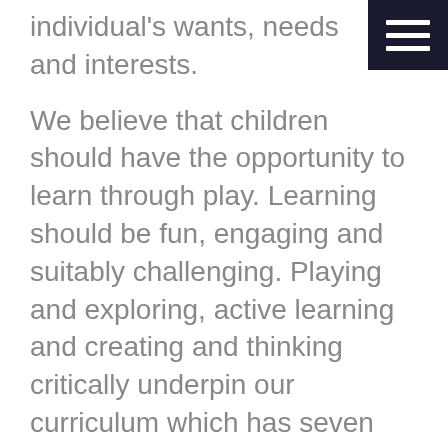individual's wants, needs and interests.
We believe that children should have the opportunity to learn through play. Learning should be fun, engaging and suitably challenging. Playing and exploring, active learning and creating and thinking critically underpin our curriculum which has seven areas of learning;
Communication and language
Personal and social development
Physical development
Literacy
Maths